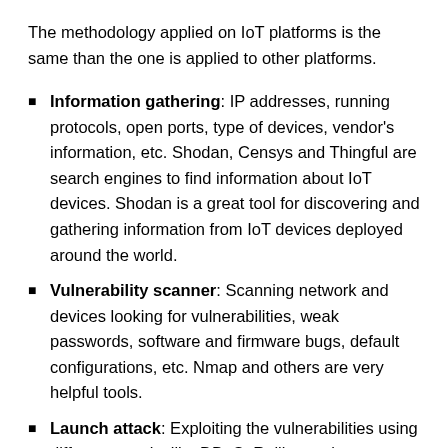The methodology applied on IoT platforms is the same than the one is applied to other platforms.
Information gathering: IP addresses, running protocols, open ports, type of devices, vendor's information, etc. Shodan, Censys and Thingful are search engines to find information about IoT devices. Shodan is a great tool for discovering and gathering information from IoT devices deployed around the world.
Vulnerability scanner: Scanning network and devices looking for vulnerabilities, weak passwords, software and firmware bugs, default configurations, etc. Nmap and others are very helpful tools.
Launch attack: Exploiting the vulnerabilities using different attacks like DDoS, Rolling code, jamming, etc.